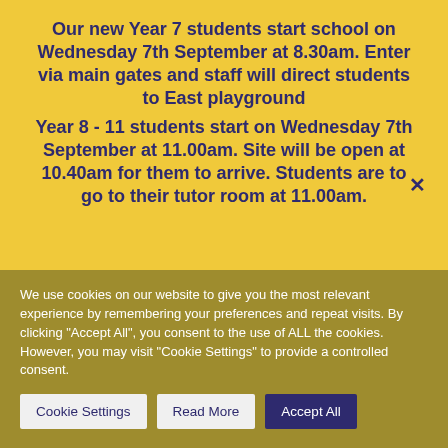Our new Year 7 students start school on Wednesday 7th September at 8.30am. Enter via main gates and staff will direct students to East playground
Year 8 - 11 students start on Wednesday 7th September at 11.00am. Site will be open at 10.40am for them to arrive. Students are to go to their tutor room at 11.00am.
We use cookies on our website to give you the most relevant experience by remembering your preferences and repeat visits. By clicking "Accept All", you consent to the use of ALL the cookies. However, you may visit "Cookie Settings" to provide a controlled consent.
Cookie Settings | Read More | Accept All